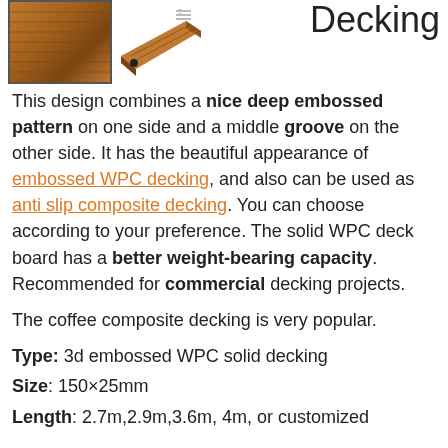[Figure (photo): Two views of a WPC decking board: one showing the embossed top surface in a bordered box, and one angled view showing the board profile with a dot marker annotation and small measurement lines.]
Decking
This design combines a nice deep embossed pattern on one side and a middle groove on the other side. It has the beautiful appearance of embossed WPC decking, and also can be used as anti slip composite decking. You can choose according to your preference. The solid WPC deck board has a better weight-bearing capacity. Recommended for commercial decking projects.
The coffee composite decking is very popular.
Type: 3d embossed WPC solid decking
Size: 150×25mm
Length: 2.7m,2.9m,3.6m, 4m, or customized